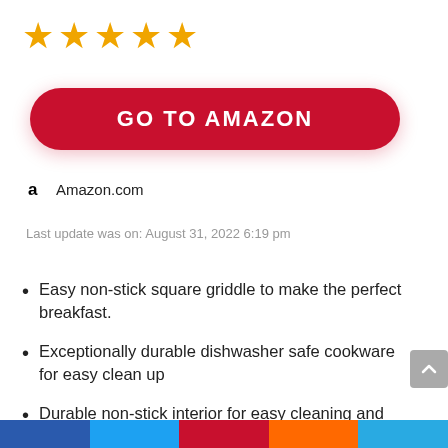[Figure (other): Five gold star rating icons]
[Figure (other): Red rounded button with white text GO TO AMAZON]
Amazon.com
Last update was on: August 31, 2022 6:19 pm
Easy non-stick square griddle to make the perfect breakfast.
Exceptionally durable dishwasher safe cookware for easy clean up
Durable non-stick interior for easy cleaning and cooking
Ergonomic comfortable grip. Oven safe up to